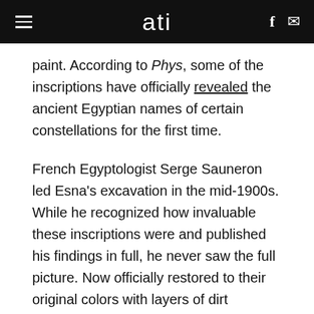ati
paint. According to Phys, some of the inscriptions have officially revealed the ancient Egyptian names of certain constellations for the first time.
French Egyptologist Serge Sauneron led Esna's excavation in the mid-1900s. While he recognized how invaluable these inscriptions were and published his findings in full, he never saw the full picture. Now officially restored to their original colors with layers of dirt removed, historians are reassessing them entirely.